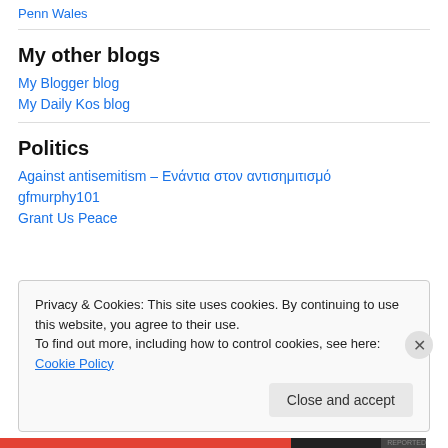Penn Wales
My other blogs
My Blogger blog
My Daily Kos blog
Politics
Against antisemitism – Ενάντια στον αντισημιτισμό
gfmurphy101
Grant Us Peace
Privacy & Cookies: This site uses cookies. By continuing to use this website, you agree to their use.
To find out more, including how to control cookies, see here: Cookie Policy
Close and accept